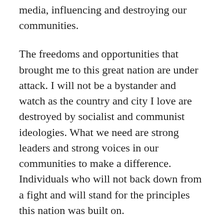media, influencing and destroying our communities.
The freedoms and opportunities that brought me to this great nation are under attack. I will not be a bystander and watch as the country and city I love are destroyed by socialist and communist ideologies. What we need are strong leaders and strong voices in our communities to make a difference. Individuals who will not back down from a fight and will stand for the principles this nation was built on.
I am that leader. I am that strong voice for our community here in Wilmington, NC. I will not back down when opposition arises, and I will uphold the Constitution and principles of this great nation and ensure